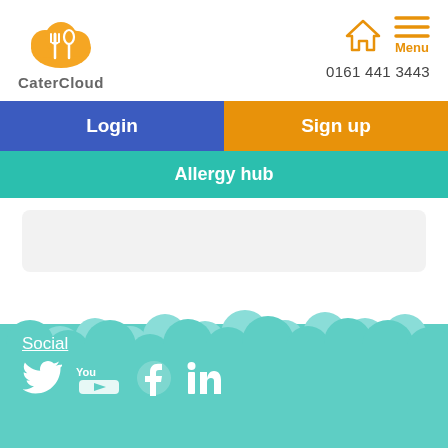[Figure (logo): CaterCloud logo with orange cloud/fork icon and grey CaterCloud text]
[Figure (illustration): Home icon (orange) and menu icon (orange horizontal lines) with text 'Menu' below, plus phone number 0161 441 3443]
Login
Sign up
Allergy hub
[Figure (illustration): Light grey rounded rectangle content area placeholder]
[Figure (illustration): Teal cloud/bubble decorative background footer illustration]
Social
[Figure (illustration): Social media icons: Twitter, YouTube, Facebook, LinkedIn in white]